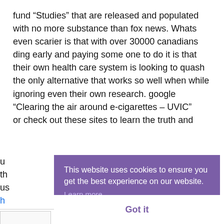fund “Studies” that are released and populated with no more substance than fox news. Whats even scarier is that with over 30000 canadians ding early and paying some one to do it is that their own health care system is looking to quash the only alternative that works so well when while ignoring even their own research. google “Clearing the air around e-cigarettes – UVIC”
or check out these sites to learn the truth and u... th... us... h...
[Figure (screenshot): Cookie consent banner overlay with purple background. Text reads: 'This website uses cookies to ensure you get the best experience on our website. Learn more' with a white 'Got it' button at the bottom.]